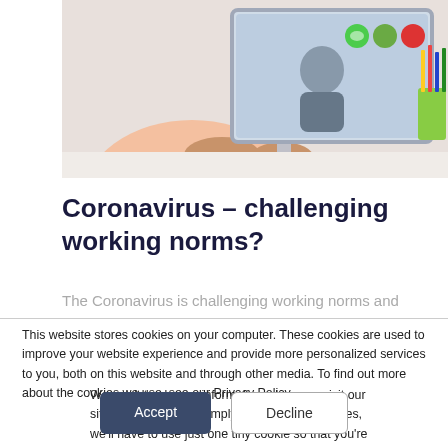[Figure (photo): Person typing on a keyboard in front of a computer monitor showing a video call interface with green and red call buttons; pencils in a green cup on the right side of the desk.]
Coronavirus – challenging working norms?
The Coronavirus is challenging working norms and
This website stores cookies on your computer. These cookies are used to improve your website experience and provide more personalized services to you, both on this website and through other media. To find out more about the cookies we use, see our Privacy Policy.
We won't track your information when you visit our site. But in order to comply with your preferences, we'll have to use just one tiny cookie so that you're not asked to make this choice again.